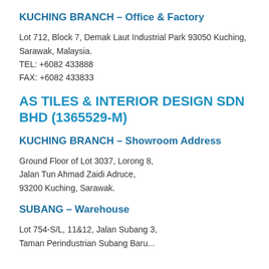KUCHING BRANCH – Office & Factory
Lot 712, Block 7, Demak Laut Industrial Park 93050 Kuching,
Sarawak, Malaysia.
TEL: +6082 433888
FAX: +6082 433833
AS TILES & INTERIOR DESIGN SDN BHD (1365529-M)
KUCHING BRANCH – Showroom Address
Ground Floor of Lot 3037, Lorong 8,
Jalan Tun Ahmad Zaidi Adruce,
93200 Kuching, Sarawak.
SUBANG – Warehouse
Lot 754-S/L, 11&12, Jalan Subang 3,
Taman Perindustrian Subang Baru...